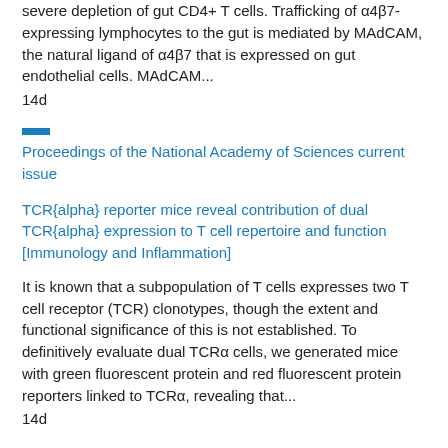severe depletion of gut CD4+ T cells. Trafficking of α4β7-expressing lymphocytes to the gut is mediated by MAdCAM, the natural ligand of α4β7 that is expressed on gut endothelial cells. MAdCAM...
14d
Proceedings of the National Academy of Sciences current issue
TCR{alpha} reporter mice reveal contribution of dual TCR{alpha} expression to T cell repertoire and function [Immunology and Inflammation]
It is known that a subpopulation of T cells expresses two T cell receptor (TCR) clonotypes, though the extent and functional significance of this is not established. To definitively evaluate dual TCRα cells, we generated mice with green fluorescent protein and red fluorescent protein reporters linked to TCRα, revealing that...
14d